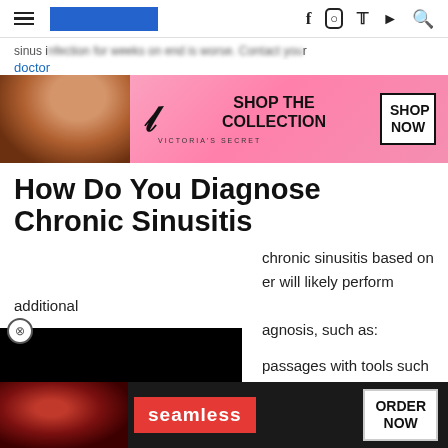Navigation header with hamburger menu, logo, and social icons (Facebook, Instagram, Twitter, YouTube, Search)
[Figure (screenshot): Victoria's Secret advertisement banner with model photo, VS logo, 'SHOP THE COLLECTION' text and 'SHOP NOW' button]
sinus infection for weeks on end is worse. Contact your doctor
How Do You Diagnose Chronic Sinusitis
[Figure (screenshot): Black video player overlay covering left portion of article]
chronic sinusitis based on her will likely perform additional agnosis, such as:
passages with tools such as a
rhinoscope or endoscope , which may reveal swelling
Imaging with a CT scan of your sinuses, which can help det
[Figure (screenshot): Seamless food delivery advertisement with pizza photo, 'CLOSE' button, 'seamless' logo and 'ORDER NOW' button]